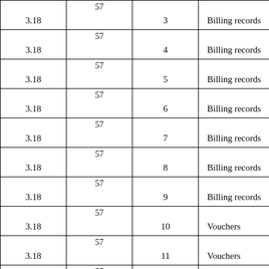| 3.18 | 57
3 | 3 | Billing records |
| 3.18 | 57
4 | 4 | Billing records |
| 3.18 | 57
5 | 5 | Billing records |
| 3.18 | 57
6 | 6 | Billing records |
| 3.18 | 57
7 | 7 | Billing records |
| 3.18 | 57
8 | 8 | Billing records |
| 3.18 | 57
9 | 9 | Billing records |
| 3.18 | 57
10 | 10 | Vouchers |
| 3.18 | 57
11 | 11 | Vouchers |
| 3.18 | 57
12 | 12 | Vouchers |
|  | 57 |  |  |